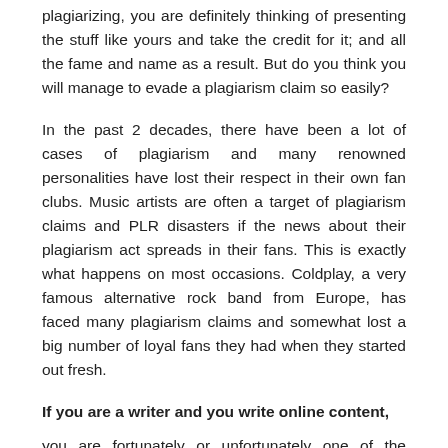plagiarizing, you are definitely thinking of presenting the stuff like yours and take the credit for it; and all the fame and name as a result. But do you think you will manage to evade a plagiarism claim so easily?
In the past 2 decades, there have been a lot of cases of plagiarism and many renowned personalities have lost their respect in their own fan clubs. Music artists are often a target of plagiarism claims and PLR disasters if the news about their plagiarism act spreads in their fans. This is exactly what happens on most occasions. Coldplay, a very famous alternative rock band from Europe, has faced many plagiarism claims and somewhat lost a big number of loyal fans they had when they started out fresh.
If you are a writer and you write online content,
you are fortunately or unfortunately one of the people who can be caught most easily for plagiarism. While